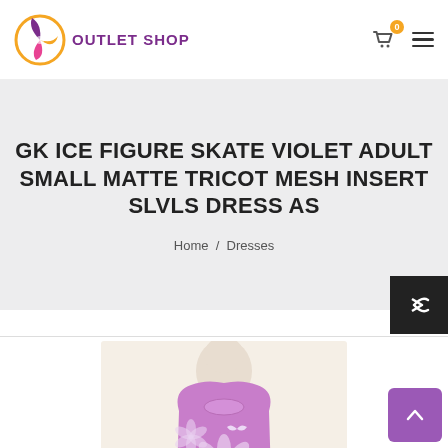OUTLET SHOP
GK ICE FIGURE SKATE VIOLET ADULT SMALL MATTE TRICOT MESH INSERT SLVLS DRESS AS
Home / Dresses
[Figure (photo): Product photo of a purple/violet floral figure skating dress on a mannequin]